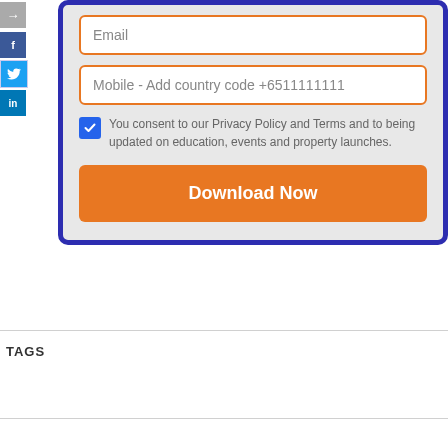[Figure (screenshot): Form card with email input, mobile phone input, privacy policy checkbox, and Download Now button, inside a blue-bordered rounded card on a light gray background]
Email
Mobile - Add country code +6511111111
You consent to our Privacy Policy and Terms and to being updated on education, events and property launches.
Download Now
TAGS